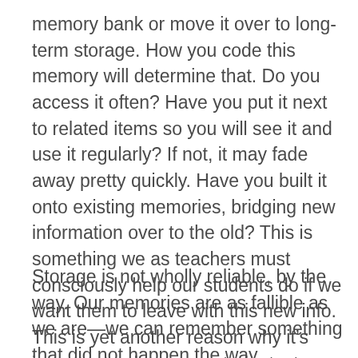memory bank or move it over to long-term storage. How you code this memory will determine that. Do you access it often? Have you put it next to related items so you will see it and use it regularly? If not, it may fade away pretty quickly. Have you built it onto existing memories, bridging new information over to the old? This is something we as teachers must consciously help our students do if we want them to leave with this new info. This is yet another reason why it's important to know our students, to understand their goals, their challenges, so we can build bridges that make sense to them.
Storage is not wholly reliable, by the way. Our memories are as fallible as we are—we can remember something that did not happen the way